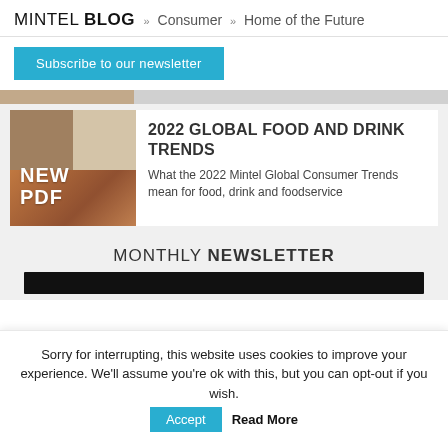MINTEL BLOG » Consumer » Home of the Future
Subscribe to our newsletter
[Figure (photo): Partial image bar showing a lifestyle/food product photo cropped at top]
2022 GLOBAL FOOD AND DRINK TRENDS
What the 2022 Mintel Global Consumer Trends mean for food, drink and foodservice
MONTHLY NEWSLETTER
Sorry for interrupting, this website uses cookies to improve your experience. We'll assume you're ok with this, but you can opt-out if you wish.